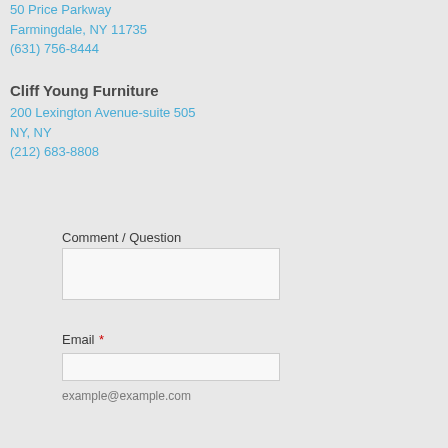50 Price Parkway
Farmingdale, NY 11735
(631) 756-8444
Cliff Young Furniture
200 Lexington Avenue-suite 505
NY, NY
(212) 683-8808
Comment / Question
Email *
example@example.com